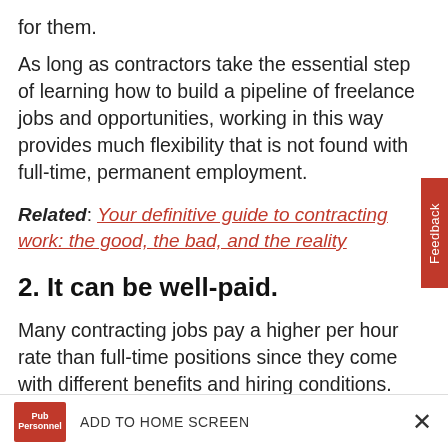for them.
As long as contractors take the essential step of learning how to build a pipeline of freelance jobs and opportunities, working in this way provides much flexibility that is not found with full-time, permanent employment.
Related: Your definitive guide to contracting work: the good, the bad, and the reality
2. It can be well-paid.
Many contracting jobs pay a higher per hour rate than full-time positions since they come with different benefits and hiring conditions.
ADD TO HOME SCREEN